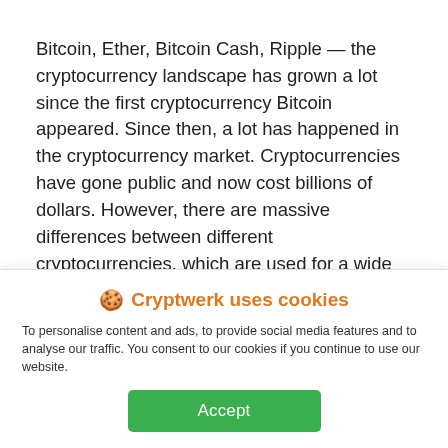Bitcoin, Ether, Bitcoin Cash, Ripple — the cryptocurrency landscape has grown a lot since the first cryptocurrency Bitcoin appeared. Since then, a lot has happened in the cryptocurrency market. Cryptocurrencies have gone public and now cost billions of dollars. However, there are massive differences between different cryptocurrencies, which are used for a wide variety of purposes.
🍪 Cryptwerk uses cookies
To personalise content and ads, to provide social media features and to analyse our traffic. You consent to our cookies if you continue to use our website.
Accept